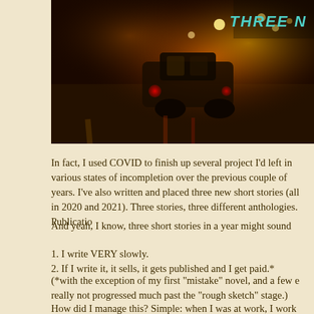[Figure (photo): Night street scene with cars and city lights, warm red/orange tones. Text 'THREE N' visible in teal/green in upper right corner.]
In fact, I used COVID to finish up several project I'd left in various states of incompletion over the previous couple of years. I've also written and placed three new short stories (all in 2020 and 2021). Three stories, three different anthologies. Publication dates are spread across 2021.
And yeah, I know, three short stories in a year might sound
1. I write VERY slowly.
2. If I write it, it sells, it gets published and I get paid.*
(*with the exception of my first "mistake" novel, and a few early short stories, and a project that's really not progressed much past the "rough sketch" stage.)
How did I manage this? Simple: when I was at work, I work